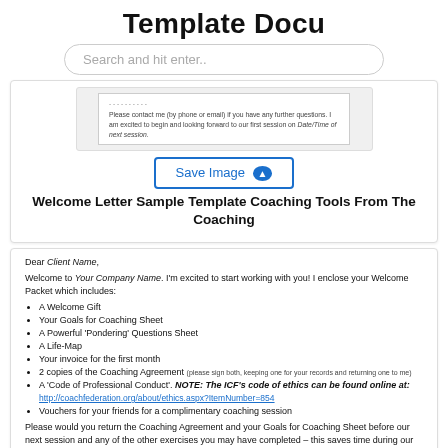Template Docu
Search and hit enter..
[Figure (screenshot): Preview image of a welcome letter template document showing partial text including 'Please contact me (by phone or email) if you have any further questions. I am excited to begin and looking forward to our first session on Date/Time of next session.']
Save Image
Welcome Letter Sample Template Coaching Tools From The Coaching
Dear Client Name,

Welcome to Your Company Name. I'm excited to start working with you! I enclose your Welcome Packet which includes:

• A Welcome Gift
• Your Goals for Coaching Sheet
• A Powerful 'Pondering' Questions Sheet
• A Life-Map
• Your invoice for the first month
• 2 copies of the Coaching Agreement (please sign both, keeping one for your records and returning one to me)
• A 'Code of Professional Conduct'. NOTE: The ICF's code of ethics can be found online at: http://coachfederation.org/about/ethics.aspx?ItemNumber=854
• Vouchers for your friends for a complimentary coaching session

Please would you return the Coaching Agreement and your Goals for Coaching Sheet before our next session and any of the other exercises you may have completed – this saves time during our session.

Please contact me (by phone or email) if you have any further questions. I am excited to